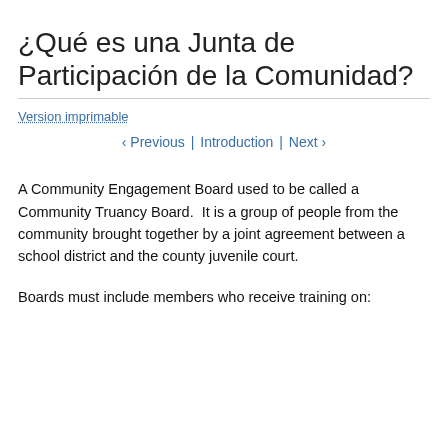¿Qué es una Junta de Participación de la Comunidad?
Version imprimable
‹ Previous | Introduction | Next ›
A Community Engagement Board used to be called a Community Truancy Board.  It is a group of people from the community brought together by a joint agreement between a school district and the county juvenile court.
Boards must include members who receive training on: